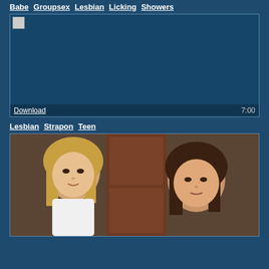Babe  Groupsex  Lesbian  Licking  Showers
[Figure (screenshot): Video player with broken thumbnail image, dark blue background, Download link and 7:00 duration shown at bottom]
Lesbian  Strapon  Teen
[Figure (photo): Two women in a kitchen setting, one blonde and one brunette, facing each other]